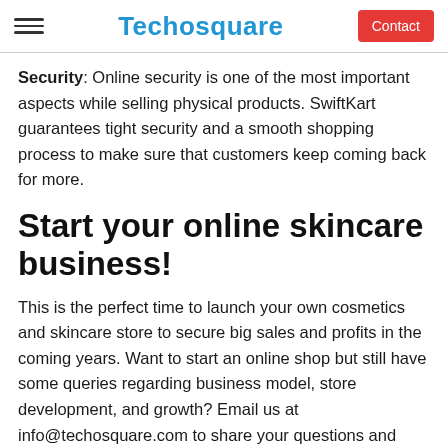Techosquare | Contact
Security: Online security is one of the most important aspects while selling physical products. SwiftKart guarantees tight security and a smooth shopping process to make sure that customers keep coming back for more.
Start your online skincare business!
This is the perfect time to launch your own cosmetics and skincare store to secure big sales and profits in the coming years. Want to start an online shop but still have some queries regarding business model, store development, and growth? Email us at info@techosquare.com to share your questions and